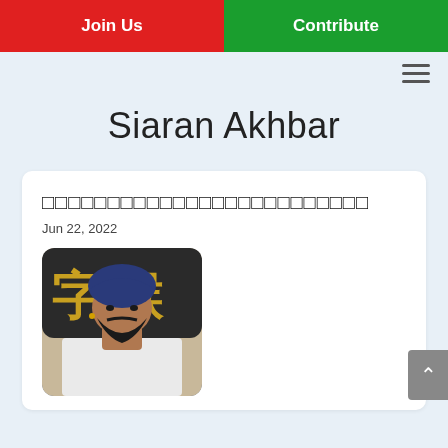Join Us | Contribute
Siaran Akhbar
□□□□□□□□□□□□□□□□□□□□□□□□□□
Jun 22, 2022
[Figure (photo): Man wearing blue turban and black beard, dressed in white, sitting in front of a wall with Asian calligraphy characters]